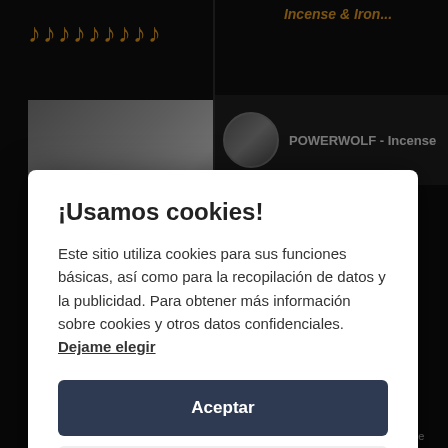[Figure (screenshot): Dark background website with music notes and video thumbnails behind a cookie consent modal overlay]
¡Usamos cookies!
Este sitio utiliza cookies para sus funciones básicas, así como para la recopilación de datos y la publicidad. Para obtener más información sobre cookies y otros datos confidenciales. Dejame elegir
Aceptar
Close